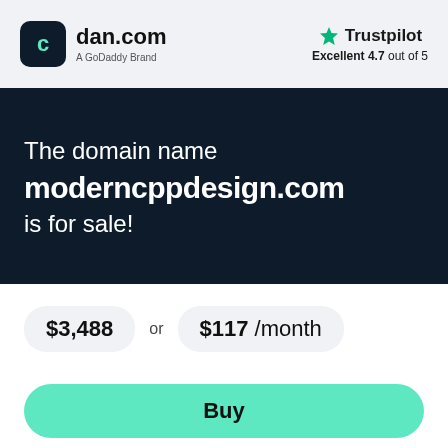[Figure (logo): dan.com logo — dark rounded square with 'c' icon, text 'dan.com' and 'A GoDaddy Brand']
[Figure (logo): Trustpilot logo with green star and text 'Trustpilot', rating 'Excellent 4.7 out of 5']
The domain name
moderncppdesign.com
is for sale!
$3,488 or $117 /month
Buy